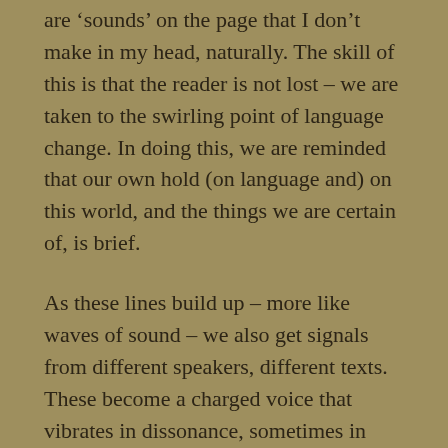are 'sounds' on the page that I don't make in my head, naturally. The skill of this is that the reader is not lost – we are taken to the swirling point of language change. In doing this, we are reminded that our own hold (on language and) on this world, and the things we are certain of, is brief.
As these lines build up – more like waves of sound – we also get signals from different speakers, different texts. These become a charged voice that vibrates in dissonance, sometimes in harmonic change, in response to the inherent ghosts in sound and language. Or is it the other voices that change with each sounding echo? Do we change them? The way each page of poetry is divided by a page of